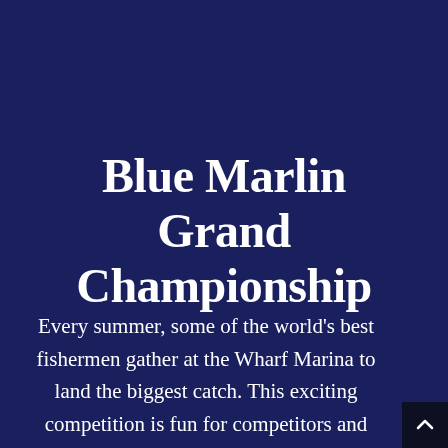Blue Marlin Grand Championship
Every summer, some of the world's best fishermen gather at the Wharf Marina to land the biggest catch. This exciting competition is fun for competitors and spectators young and old!